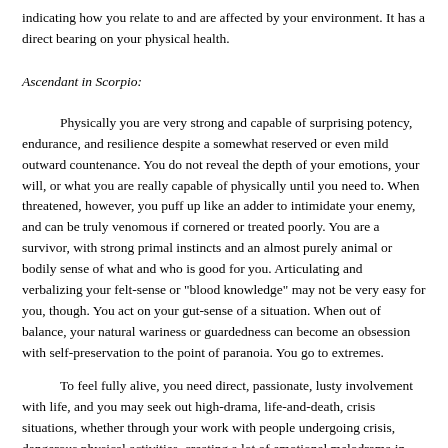indicating how you relate to and are affected by your environment. It has a direct bearing on your physical health.
Ascendant in Scorpio:
Physically you are very strong and capable of surprising potency, endurance, and resilience despite a somewhat reserved or even mild outward countenance. You do not reveal the depth of your emotions, your will, or what you are really capable of physically until you need to. When threatened, however, you puff up like an adder to intimidate your enemy, and can be truly venomous if cornered or treated poorly. You are a survivor, with strong primal instincts and an almost purely animal or bodily sense of what and who is good for you. Articulating and verbalizing your felt-sense or "blood knowledge" may not be very easy for you, though. You act on your gut-sense of a situation. When out of balance, your natural wariness or guardedness can become an obsession with self-preservation to the point of paranoia. You go to extremes.
To feel fully alive, you need direct, passionate, lusty involvement with life, and you may seek out high-drama, life-and-death, crisis situations, whether through your work with people undergoing crisis, dangerous physical activities, creating a lot of emotional melodrama in your personal life, or simply choosing a lifestyle that does not buffer you from nature. You enjoy storms.